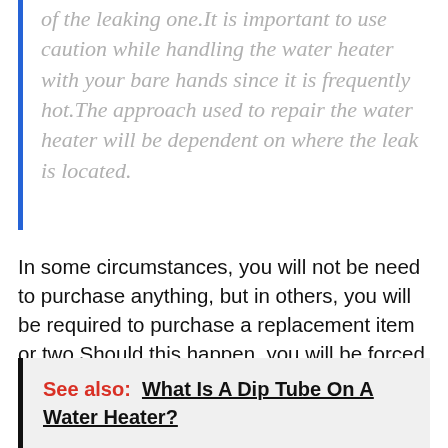of the leaking one.It is important to use caution while handling the water heater with your bare hands since it is frequently hot.The approach used to repair the water heater will be dependent on where the leak is located.
In some circumstances, you will not be need to purchase anything, but in others, you will be required to purchase a replacement item or two.Should this happen, you will be forced to replace the complete water heater.
See also:  What Is A Dip Tube On A Water Heater?